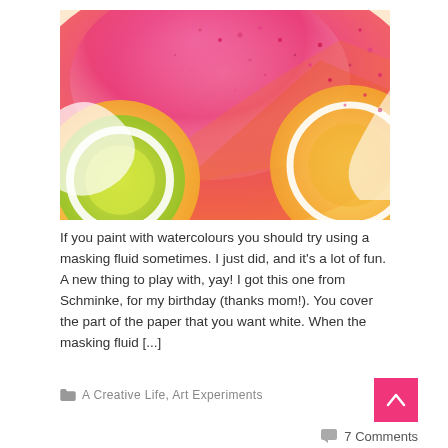[Figure (photo): Colorful watercolor painting with pink, red, orange, yellow and green hues, showing swirling circular forms with white masking fluid areas and splattered paint droplets.]
If you paint with watercolours you should try using a masking fluid sometimes. I just did, and it's a lot of fun. A new thing to play with, yay! I got this one from Schminke, for my birthday (thanks mom!). You cover the part of the paper that you want white. When the masking fluid [...]
A Creative Life, Art Experiments
7 Comments